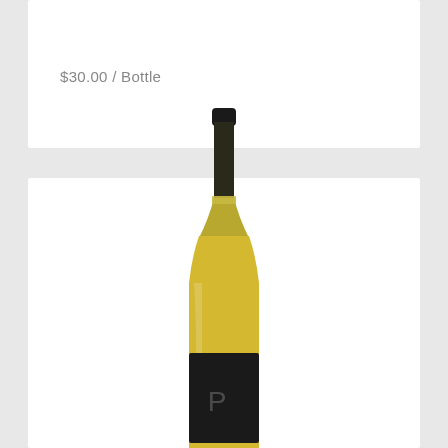$30.00 / Bottle
[Figure (photo): A wine bottle with a yellow/golden white wine and a dark black label featuring the letter P]